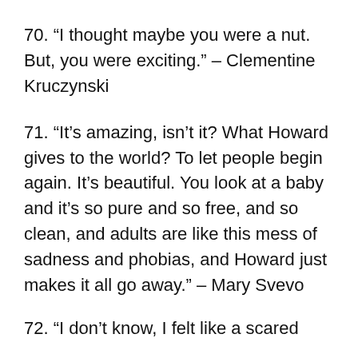70. “I thought maybe you were a nut. But, you were exciting.” – Clementine Kruczynski
71. “It’s amazing, isn’t it? What Howard gives to the world? To let people begin again. It’s beautiful. You look at a baby and it’s so pure and so free, and so clean, and adults are like this mess of sadness and phobias, and Howard just makes it all go away.” – Mary Svevo
72. “I don’t know, I felt like a scared